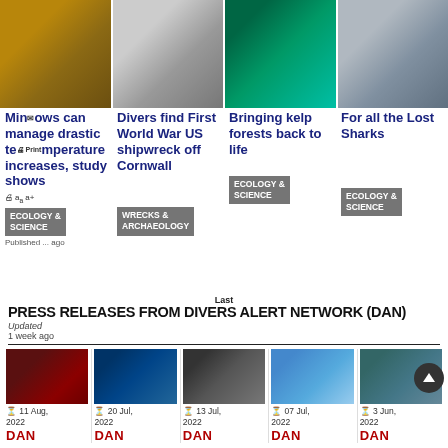[Figure (photo): Four thumbnail images across the top: a fish (minnow), a WWI ship in black and white, an underwater kelp forest, and a shark fin closeup]
Minnows can manage drastic temperature increases, study shows
Divers find First World War US shipwreck off Cornwall
Bringing kelp forests back to life
For all the Lost Sharks
ECOLOGY & SCIENCE
WRECKS & ARCHAEOLOGY
ECOLOGY & SCIENCE
ECOLOGY & SCIENCE
Published ... ago
PRESS RELEASES FROM DIVERS ALERT NETWORK (DAN)
Last
Updated
1 week ago
[Figure (photo): Press release card 1: portrait of a man in suit, date 11 Aug, 2022, DAN]
[Figure (photo): Press release card 2: underwater scene, date 20 Jul, 2022, DAN]
[Figure (photo): Press release card 3: person with equipment, date 13 Jul, 2022, DAN]
[Figure (photo): Press release card 4: aerial island view, date 07 Jul, 2022, DAN]
[Figure (photo): Press release card 5: screen/technology image, date Jun 2022, DAN]